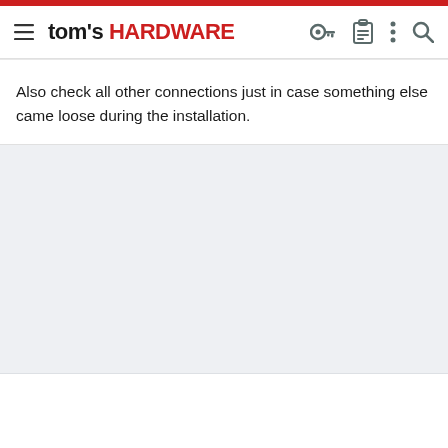tom's HARDWARE
Also check all other connections just in case something else came loose during the installation.
[Figure (other): Gray placeholder/advertisement block]